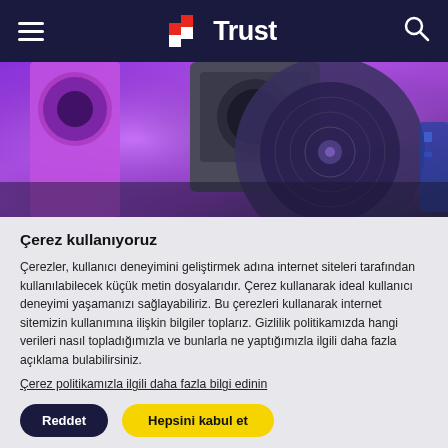Trust
[Figure (photo): Close-up photo of audio speakers with purple/violet neon lighting, showing speaker cones and cabinet detail.]
Çerez kullanıyoruz
Çerezler, kullanıcı deneyimini geliştirmek adına internet siteleri tarafından kullanılabilecek küçük metin dosyalarıdır. Çerez kullanarak ideal kullanıcı deneyimi yaşamanızı sağlayabiliriz. Bu çerezleri kullanarak internet sitemizin kullanımına ilişkin bilgiler toplarız. Gizlilik politikamızda hangi verileri nasıl topladığımızla ve bunlarla ne yaptığımızla ilgili daha fazla açıklama bulabilirsiniz.
Çerez politikamızla ilgili daha fazla bilgi edinin
Reddet
Hepsini kabul et
çerez ayarları